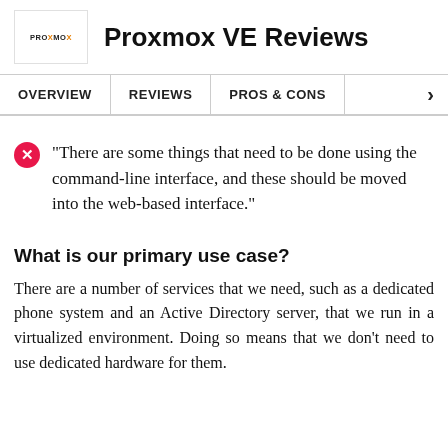Proxmox VE Reviews
OVERVIEW | REVIEWS | PROS & CONS
"There are some things that need to be done using the command-line interface, and these should be moved into the web-based interface."
What is our primary use case?
There are a number of services that we need, such as a dedicated phone system and an Active Directory server, that we run in a virtualized environment. Doing so means that we don't need to use dedicated hardware for them.